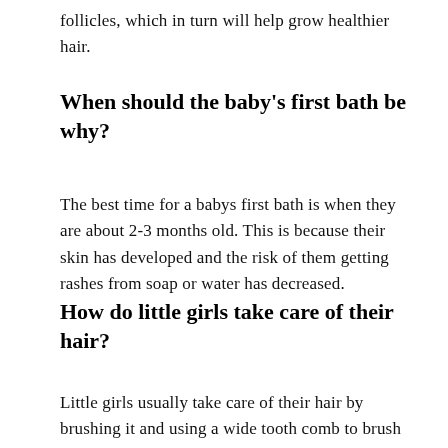follicles, which in turn will help grow healthier hair.
When should the baby's first bath be why?
The best time for a babys first bath is when they are about 2-3 months old. This is because their skin has developed and the risk of them getting rashes from soap or water has decreased.
How do little girls take care of their hair?
Little girls usually take care of their hair by brushing it and using a wide tooth comb to brush the knots out. They can also use a wide tooth